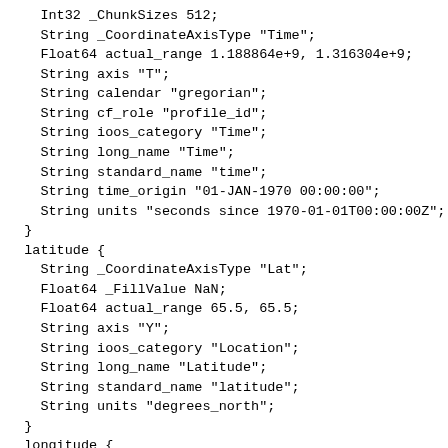Int32 _ChunkSizes 512;
    String _CoordinateAxisType "Time";
    Float64 actual_range 1.188864e+9, 1.316304e+9;
    String axis "T";
    String calendar "gregorian";
    String cf_role "profile_id";
    String ioos_category "Time";
    String long_name "Time";
    String standard_name "time";
    String time_origin "01-JAN-1970 00:00:00";
    String units "seconds since 1970-01-01T00:00:00Z";
  }
  latitude {
    String _CoordinateAxisType "Lat";
    Float64 _FillValue NaN;
    Float64 actual_range 65.5, 65.5;
    String axis "Y";
    String ioos_category "Location";
    String long_name "Latitude";
    String standard_name "latitude";
    String units "degrees_north";
  }
  longitude {
    String _CoordinateAxisType "Lon";
    Float64 _FillValue NaN;
    Float64 actual_range -168.5, -168.5;